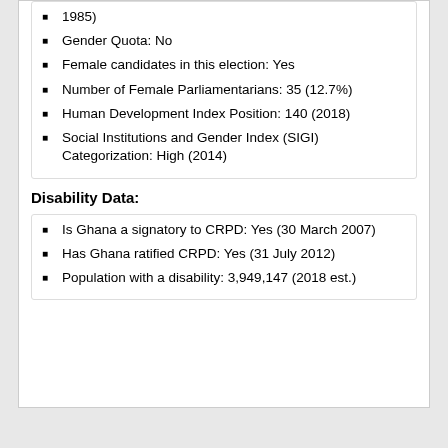1985)
Gender Quota: No
Female candidates in this election: Yes
Number of Female Parliamentarians: 35 (12.7%)
Human Development Index Position: 140 (2018)
Social Institutions and Gender Index (SIGI) Categorization: High (2014)
Disability Data:
Is Ghana a signatory to CRPD: Yes (30 March 2007)
Has Ghana ratified CRPD: Yes (31 July 2012)
Population with a disability: 3,949,147 (2018 est.)